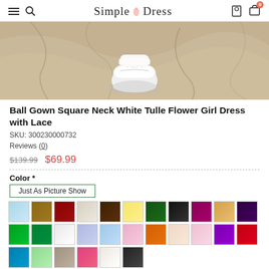Simple Dress — navigation header with hamburger menu, search, account, and cart icons
[Figure (photo): Close-up photo of a child's white shoe on a stone/marble surface — product detail image for flower girl dress]
Ball Gown Square Neck White Tulle Flower Girl Dress with Lace
SKU: 300230000732
Reviews (0)
$139.99  $69.99
Color *
Just As Picture Show
[Figure (other): Grid of fabric color swatches (approx 27 swatches) showing available dress colors including light blue, brown, dark red, grey/white, dark brown, yellow, dark green, black, purple, gold, dark purple, green, bright green, white, lavender, light blue, pink, orange, light pink, blush pink, orchid/violet, red, teal/blue, mint green, taupe/grey, coral/hot pink, white, charcoal/black]
Size *  Please Select